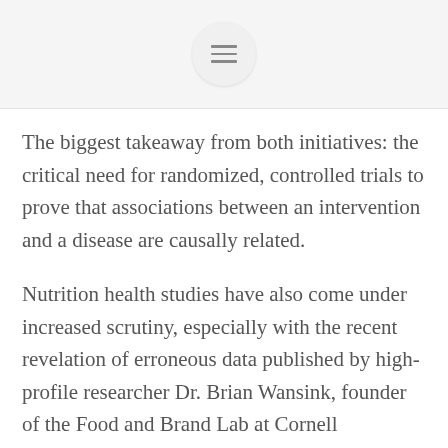[hamburger menu icon]
The biggest takeaway from both initiatives: the critical need for randomized, controlled trials to prove that associations between an intervention and a disease are causally related.
Nutrition health studies have also come under increased scrutiny, especially with the recent revelation of erroneous data published by high-profile researcher Dr. Brian Wansink, founder of the Food and Brand Lab at Cornell